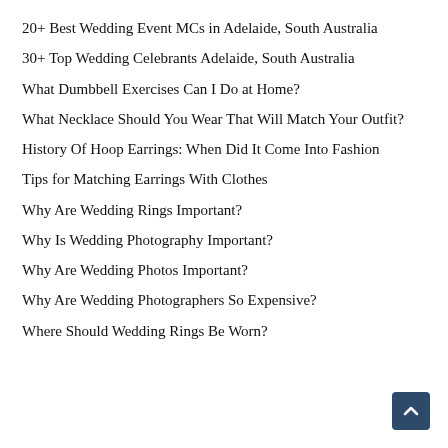20+ Best Wedding Event MCs in Adelaide, South Australia
30+ Top Wedding Celebrants Adelaide, South Australia
What Dumbbell Exercises Can I Do at Home?
What Necklace Should You Wear That Will Match Your Outfit?
History Of Hoop Earrings: When Did It Come Into Fashion
Tips for Matching Earrings With Clothes
Why Are Wedding Rings Important?
Why Is Wedding Photography Important?
Why Are Wedding Photos Important?
Why Are Wedding Photographers So Expensive?
Where Should Wedding Rings Be Worn?